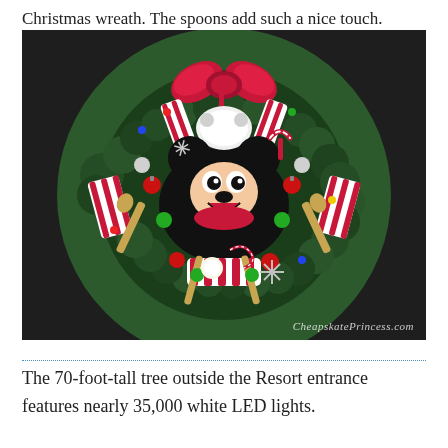Christmas wreath. The spoons add such a nice touch.
[Figure (photo): A Mickey Mouse chef Christmas wreath decorated with red and white striped ribbons, candy canes, ornaments, wooden spoons, green garland, and colorful lights. Mickey Mouse wears a chef's hat. Watermark reads CheapskatePrincess.com]
The 70-foot-tall tree outside the Resort entrance features nearly 35,000 white LED lights.